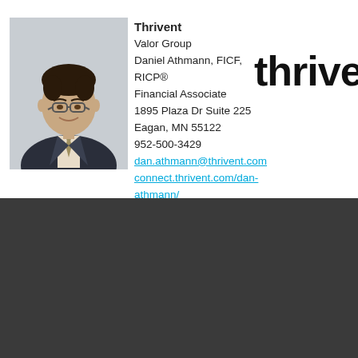[Figure (photo): Professional headshot of Daniel Athmann wearing glasses, a dark suit and tie, smiling.]
Thrivent
Valor Group
Daniel Athmann, FICF, RICP®
Financial Associate
1895 Plaza Dr Suite 225
Eagan, MN 55122
952-500-3429
dan.athmann@thrivent.com
connect.thrivent.com/dan-athmann/
[Figure (logo): Thrivent logo in bold black lowercase letters, partially cropped at the right edge.]
[Figure (photo): Dark grey/charcoal background section at the bottom of the page, no visible text content.]